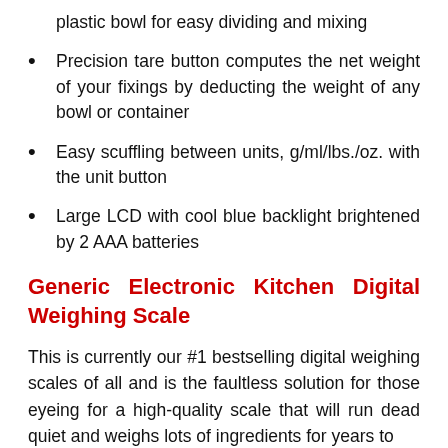plastic bowl for easy dividing and mixing
Precision tare button computes the net weight of your fixings by deducting the weight of any bowl or container
Easy scuffling between units, g/ml/lbs./oz. with the unit button
Large LCD with cool blue backlight brightened by 2 AAA batteries
Generic Electronic Kitchen Digital Weighing Scale
This is currently our #1 bestselling digital weighing scales of all and is the faultless solution for those eyeing for a high-quality scale that will run dead quiet and weighs lots of ingredients for years to